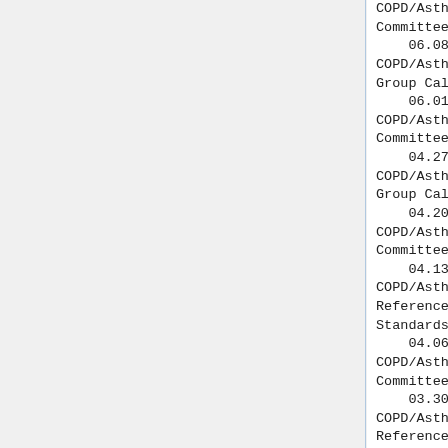COPD/Asthma Technical Committee Call Summary
06.08.2011 QIBA COPD/Asthma LDRCS Work Group Call Summary
06.01.2011 QIBA COPD/Asthma Technical Committee Call Summary
04.27.2011 QIBA COPD/Asthma LDRCS Work Group Call Summary
04.20.2011 QIBA COPD/Asthma Technical Committee Call Summary
04.13.2011 QIBA COPD/Asthma Lung Density Reference and Consistency Standards Work Group
04.06.2011 QIBA COPD/Asthma Technical Committee Call Summary
03.30.2011 QIBA COPD/Asthma Lung Density Reference and Consistency Standards Work Group